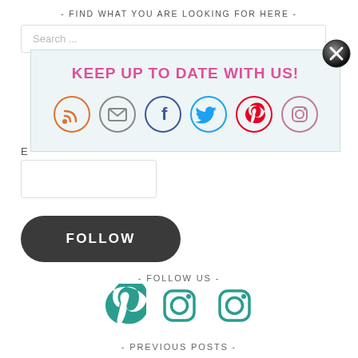- FIND WHAT YOU ARE LOOKING FOR HERE -
[Figure (screenshot): Search input box with placeholder text 'Search ...']
[Figure (infographic): Popup overlay with title 'KEEP UP TO DATE WITH US!' and social media icons: RSS, email, Facebook, Twitter, Pinterest, Instagram. Has close button (X).]
E
[Figure (screenshot): Email input box (partially visible)]
[Figure (infographic): FOLLOW button - dark rounded rectangle]
- FOLLOW US -
[Figure (infographic): Three teal social media icons: Pinterest, Instagram (x2)]
- PREVIOUS POSTS -